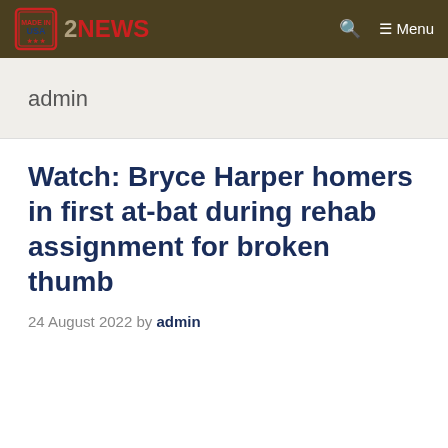Made in USA 2NEWS — Menu
admin
Watch: Bryce Harper homers in first at-bat during rehab assignment for broken thumb
24 August 2022 by admin